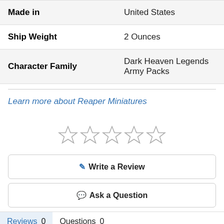| Attribute | Value |
| --- | --- |
| Made in | United States |
| Ship Weight | 2 Ounces |
| Character Family | Dark Heaven Legends Army Packs |
Learn more about Reaper Miniatures
[Figure (other): Five empty star rating icons arranged horizontally]
Write a Review
Ask a Question
Reviews 0   Questions 0